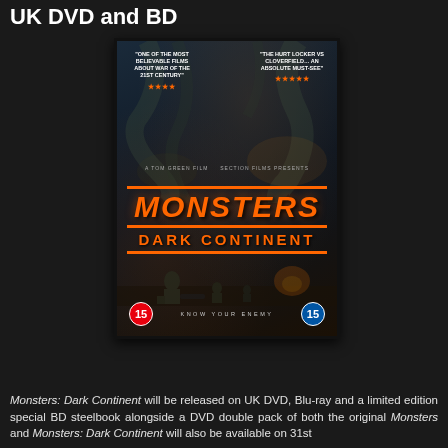UK DVD and BD
[Figure (photo): DVD/Blu-ray cover art for Monsters: Dark Continent showing monsters, soldiers, and the title in large orange text with review quotes and age rating 15 badges]
Monsters: Dark Continent will be released on UK DVD, Blu-ray and a limited edition special BD steelbook alongside a DVD double pack of both the original Monsters and Monsters: Dark Continent will also be available on 31st